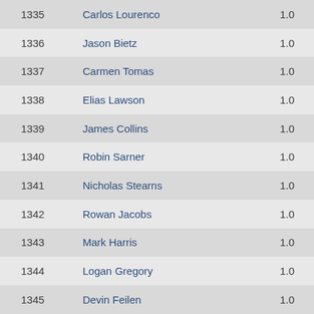| Rank | Name | Score |
| --- | --- | --- |
| 1335 | Carlos Lourenco | 1.0 |
| 1336 | Jason Bietz | 1.0 |
| 1337 | Carmen Tomas | 1.0 |
| 1338 | Elias Lawson | 1.0 |
| 1339 | James Collins | 1.0 |
| 1340 | Robin Sarner | 1.0 |
| 1341 | Nicholas Stearns | 1.0 |
| 1342 | Rowan Jacobs | 1.0 |
| 1343 | Mark Harris | 1.0 |
| 1344 | Logan Gregory | 1.0 |
| 1345 | Devin Feilen | 1.0 |